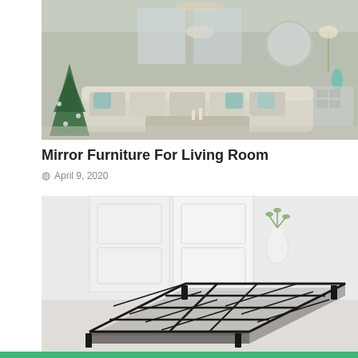[Figure (photo): A decorated living room with a large sectional sofa in cream/beige, blue and white accent pillows, a chandelier, round mirror on wall, mirrored accent table, teal lamp, and a Christmas tree on the left side.]
Mirror Furniture For Living Room
April 9, 2020
[Figure (photo): A black metal bed frame platform shown in a bright white room with white doors and a white vase with a plant in the background.]